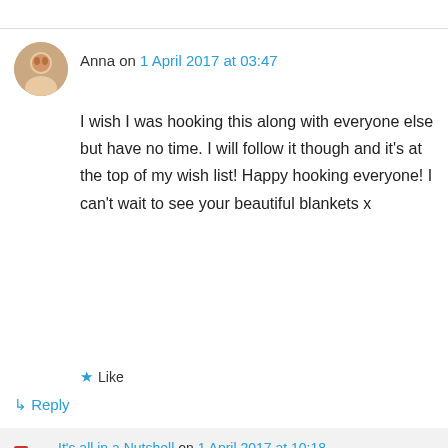Anna on 1 April 2017 at 03:47
I wish I was hooking this along with everyone else but have no time. I will follow it though and it's at the top of my wish list! Happy hooking everyone! I can't wait to see your beautiful blankets x
★ Like
↳ Reply
It's all in a Nutshell on 1 April 2017 at 10:18
Advertisements
[Figure (screenshot): Dark advertisement banner for WordPress online course with teal text and Learn More CTA button]